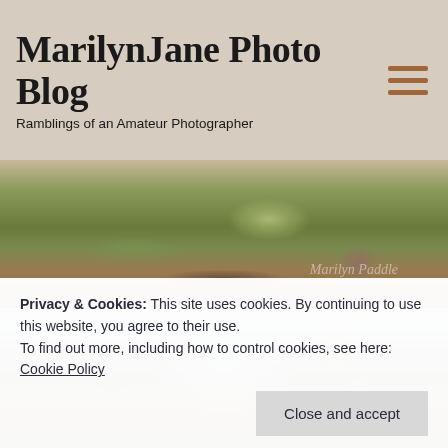MarilynJane Photo Blog
Ramblings of an Amateur Photographer
[Figure (photo): Outdoor nature photo showing green grass and rocky ground, with a Marilyn Paddle watermark]
[Figure (photo): Nature photo showing branches and blurred background with sky and tree trunk]
Privacy & Cookies: This site uses cookies. By continuing to use this website, you agree to their use.
To find out more, including how to control cookies, see here: Cookie Policy
Close and accept